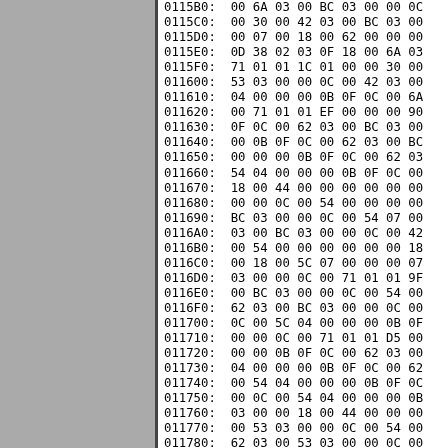[Figure (other): Gray panel on the left side of the page]
0115B0: 00 6A 03 00 BC 03 00 00 0C
0115C0: 00 30 00 42 03 00 BC 03 00
0115D0: 00 07 00 18 00 62 00 00 00
0115E0: 0D 38 02 03 0F 18 00 6A 03
0115F0: 71 01 01 1C 01 00 00 30 00
011600: 53 03 00 00 0C 00 42 03 00
011610: 04 00 00 00 0B 0F 0C 00 6A
011620: 00 71 01 01 EF 00 00 00 90
011630: 0F 0C 00 62 03 00 BC 03 00
011640: 00 0B 0F 0C 00 62 03 00 BC
011650: 00 00 00 0B 0F 0C 00 62 03
011660: 54 04 00 00 00 0B 0F 0C 00
011670: 18 00 44 00 00 00 00 00 00
011680: 00 00 0C 00 54 00 00 00 00
011690: BC 03 00 00 0C 00 54 07 00
0116A0: 03 00 BC 03 00 00 0C 00 42
0116B0: 00 54 00 00 00 00 00 00 18
0116C0: 00 18 00 5C 07 00 00 00 07
0116D0: 03 00 00 0C 00 71 01 01 9F
0116E0: 00 BC 03 00 00 0C 00 54 00
0116F0: 62 03 00 BC 03 00 00 0C 00
011700: 0C 00 5C 04 00 00 00 0B 0F
011710: 00 00 0C 00 71 01 01 D5 00
011720: 00 00 0B 0F 0C 00 62 03 00
011730: 04 00 00 00 0B 0F 0C 00 62
011740: 00 54 04 00 00 00 0B 0F 0C
011750: 00 0C 00 54 04 00 00 00 0B
011760: 03 00 00 18 00 44 00 00 00
011770: 00 53 03 00 00 0C 00 54 00
011780: 62 03 00 53 03 00 00 0C 00